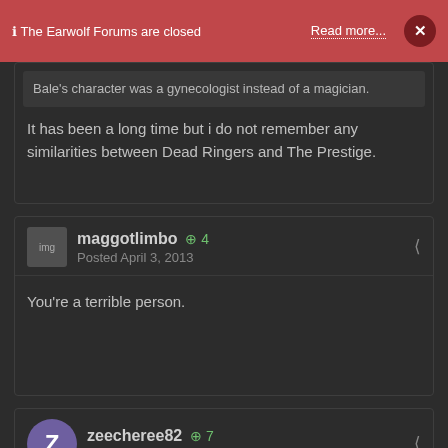ℹ The Earwolf Forums are closed  Read more...  ×
Bale's character was a gynecologist instead of a magician.
It has been a long time but i do not remember any similarities between Dead Ringers and The Prestige.
maggotlimbo  +4  Posted April 3, 2013
You're a terrible person.
zeecheree82  +7  Posted April 14, 2013
Saw something about a remake of this film....discuss?